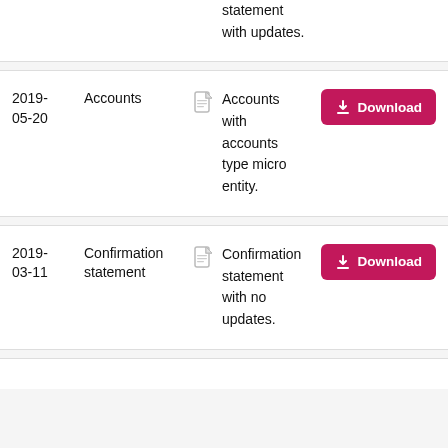| Date | Type |  | Description | Action |
| --- | --- | --- | --- | --- |
|  |  |  | statement with updates. |  |
| 2019-05-20 | Accounts |  | Accounts with accounts type micro entity. | Download |
| 2019-03-11 | Confirmation statement |  | Confirmation statement with no updates. | Download |